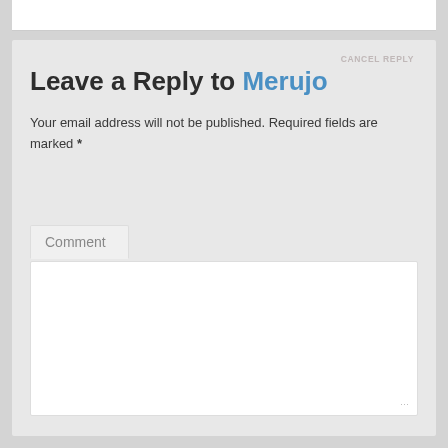Leave a Reply to Merujo
CANCEL REPLY
Your email address will not be published. Required fields are marked *
Comment